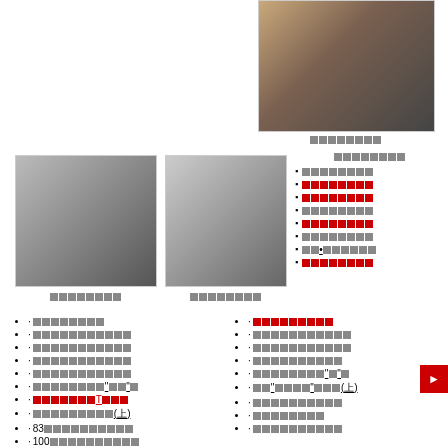[Figure (photo): Photo of two people, a man and a woman, upper right area]
[Chinese characters]
[Figure (photo): Photo of a person in crowd, left column]
[Chinese characters]
[Figure (photo): Photo of women walking, center column]
[Chinese characters]
[Chinese characters list - right sidebar]
[Chinese characters list - bottom left column]
[Chinese characters list - bottom right column]